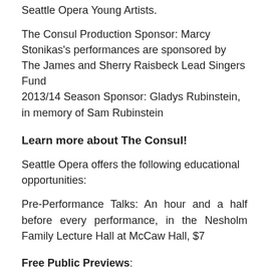Seattle Opera Young Artists.
The Consul Production Sponsor: Marcy Stonikas's performances are sponsored by The James and Sherry Raisbeck Lead Singers Fund
2013/14 Season Sponsor: Gladys Rubinstein, in memory of Sam Rubinstein
Learn more about The Consul!
Seattle Opera offers the following educational opportunities:
Pre-Performance Talks: An hour and a half before every performance, in the Nesholm Family Lecture Hall at McCaw Hall, $7
Free Public Previews: 2/4/2014, 6:30 p.m. West Seattle Library